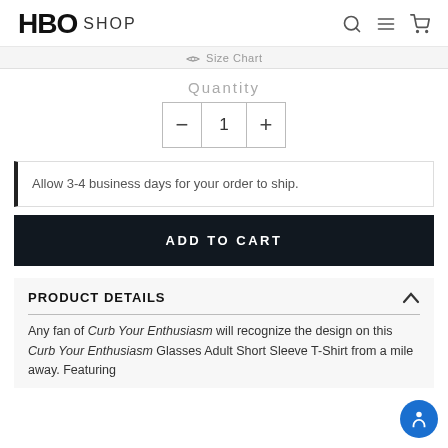HBO SHOP
Size Chart
Quantity
1
Allow 3-4 business days for your order to ship.
ADD TO CART
PRODUCT DETAILS
Any fan of Curb Your Enthusiasm will recognize the design on this Curb Your Enthusiasm Glasses Adult Short Sleeve T-Shirt from a mile away. Featuring